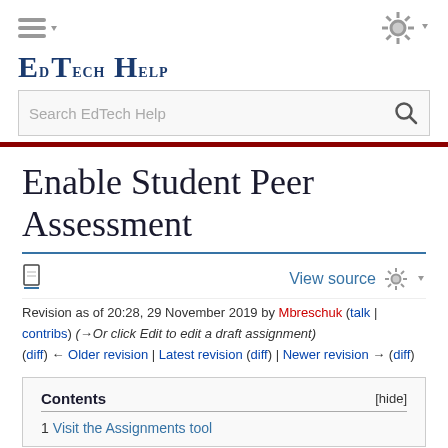EdTech Help
Enable Student Peer Assessment
Revision as of 20:28, 29 November 2019 by Mbreschuk (talk | contribs) (→Or click Edit to edit a draft assignment)
(diff) ← Older revision | Latest revision (diff) | Newer revision → (diff)
Contents
1 Visit the Assignments tool